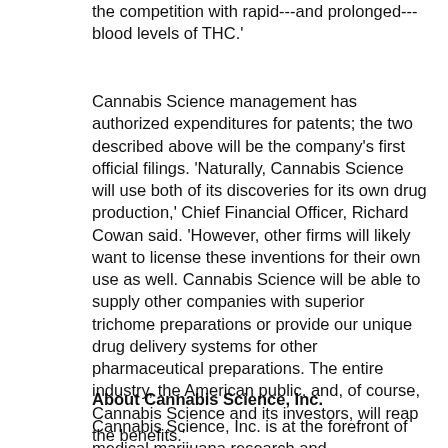the competition with rapid---and prolonged---blood levels of THC.'
Cannabis Science management has authorized expenditures for patents; the two described above will be the company's first official filings. 'Naturally, Cannabis Science will use both of its discoveries for its own drug production,' Chief Financial Officer, Richard Cowan said. 'However, other firms will likely want to license these inventions for their own use as well. Cannabis Science will be able to supply other companies with superior trichome preparations or provide our unique drug delivery systems for other pharmaceutical preparations. The entire industry, the American public, and, of course, Cannabis Science and its investors, will reap the benefits.'
About Cannabis Science, Inc.
Cannabis Science, Inc. is at the forefront of medical marijuana research and development.